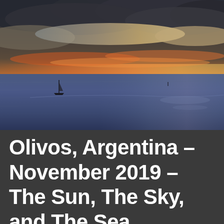[Figure (photo): A seascape photograph at sunset showing a dramatic sky with storm clouds lit in orange, pink, and yellow tones at the horizon. The foreground shows a calm, dark blue-purple sea with light reflecting off the water. A small silhouette of a boat is visible in the left-center of the water. The image has a moody, atmospheric quality.]
Olivos, Argentina – November 2019 – The Sun, The Sky, and The Sea